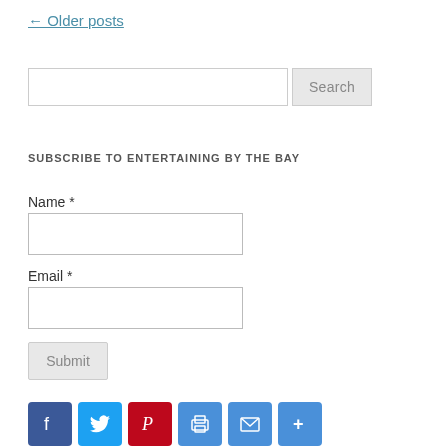← Older posts
[Figure (other): Search bar with text input and Search button]
SUBSCRIBE TO ENTERTAINING BY THE BAY
Name *
[Figure (other): Name text input field]
Email *
[Figure (other): Email text input field]
[Figure (other): Submit button]
[Figure (other): Social media icons: Facebook, Twitter, Pinterest, Print, Email, Share]